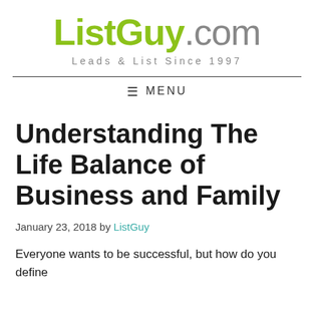[Figure (logo): ListGuy.com logo with tagline 'Leads & List Since 1997']
≡ MENU
Understanding The Life Balance of Business and Family
January 23, 2018 by ListGuy
Everyone wants to be successful, but how do you define